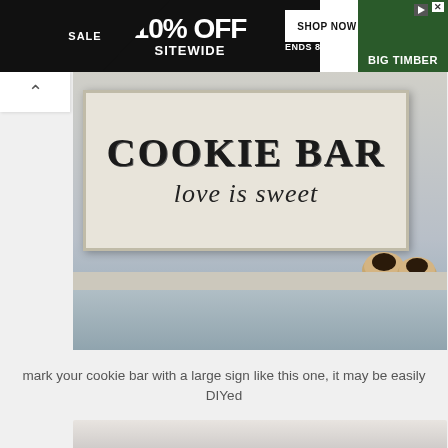[Figure (screenshot): Advertisement banner: SALE, 10% OFF SITEWIDE, SHOP NOW, ENDS 8/31, BIG TIMBER]
[Figure (photo): Photo of a rustic white wooden sign reading 'COOKIE BAR - love is sweet' with cookies on a shelf beneath it, set against a light cabinet background]
mark your cookie bar with a large sign like this one, it may be easily DIYed
[Figure (photo): Partial view of a second photo (bottom of page, cropped)]